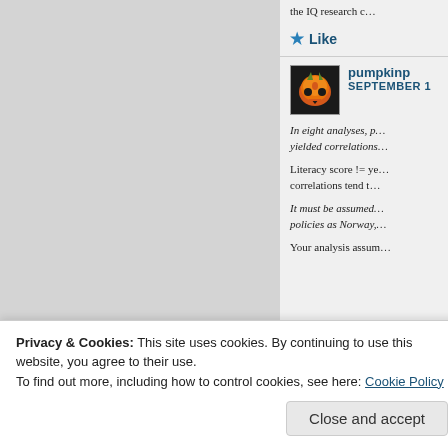the IQ research c…
★ Like
pumpkinp
SEPTEMBER 1
In eight analyses, p… yielded correlations…
Literacy score != ye… correlations tend t…
It must be assumed… policies as Norway,…
Your analysis assum…
Privacy & Cookies: This site uses cookies. By continuing to use this website, you agree to their use.
To find out more, including how to control cookies, see here: Cookie Policy
Close and accept